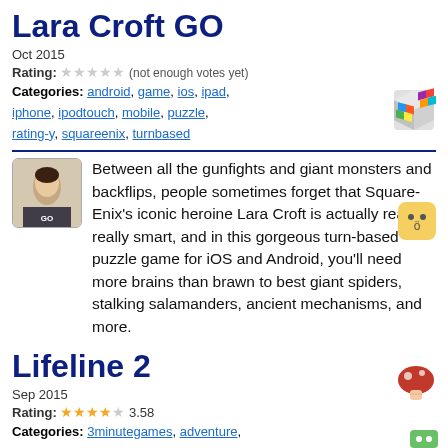Lara Croft GO
Oct 2015
Rating: ☆☆☆☆☆ (not enough votes yet)
Categories: android, game, ios, ipad, iphone, ipodtouch, mobile, puzzle, rating-y, squareenix, turnbased
Between all the gunfights and giant monsters and backflips, people sometimes forget that Square-Enix's iconic heroine Lara Croft is actually really, really smart, and in this gorgeous turn-based puzzle game for iOS and Android, you'll need more brains than brawn to best giant spiders, stalking salamanders, ancient mechanisms, and more.
Lifeline 2
Sep 2015
Rating: ★★★★☆ 3.58
Categories: 3minutegames, adventure, applewatch, chooseyourownadventure, djustus, fantasy, game, ifiction, ios, ipad, iphone, ipodtouch, mobile, narrative, rating-y, tablet, text...